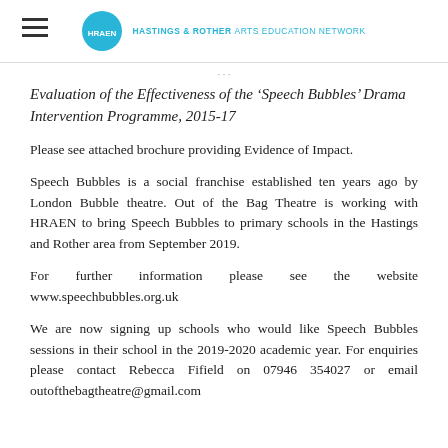HASTINGS & ROTHER ARTS EDUCATION NETWORK
Evaluation of the Effectiveness of the 'Speech Bubbles' Drama Intervention Programme, 2015-17
Please see attached brochure providing Evidence of Impact.
Speech Bubbles is a social franchise established ten years ago by London Bubble theatre. Out of the Bag Theatre is working with HRAEN to bring Speech Bubbles to primary schools in the Hastings and Rother area from September 2019.
For further information please see the website www.speechbubbles.org.uk
We are now signing up schools who would like Speech Bubbles sessions in their school in the 2019-2020 academic year. For enquiries please contact Rebecca Fifield on 07946 354027 or email outofthebagtheatre@gmail.com